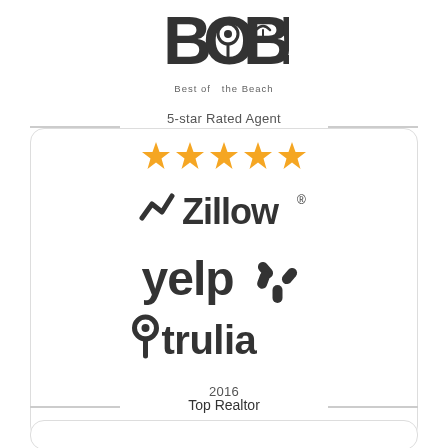[Figure (logo): BOB - Best of the Beach logo, stylized text with beach umbrella icon]
5-star Rated Agent
[Figure (infographic): Five gold stars rating]
[Figure (logo): Zillow logo with zigzag arrow icon]
[Figure (logo): Yelp logo with burst icon]
[Figure (logo): Trulia logo with location pin icon]
2016
Top Realtor